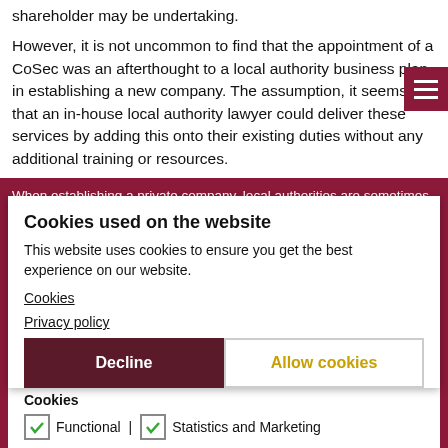shareholder may be undertaking.
However, it is not uncommon to find that the appointment of a CoSec was an afterthought to a local authority business plan in establishing a new company. The assumption, it seems, is that an in-house local authority lawyer could deliver these services by adding this onto their existing duties without any additional training or resources.
When establishing a private company, local authorities are sometimes advised that there is no legal requirement for limited companies to appoint a company secretary. Whilst this advice is legally sound it should not always be appropriate for the circumstances. It does not just explain the absence of the appointment of a CoSec upon establishing a company or the low priority given to this function when resourcing a new company.
Bear in mind that the ultimate statutory responsibility for compliance with the Companies Act 2006, regardless of a CoSec appointment, lies with the directors. The directors for a local authority company are typically drawn from senior management or members of the council and/or outside appointments of Non-Executive Directors who usually hold a portfolio of other companies.
Cookies used on the website
This website uses cookies to ensure you get the best experience on our website.
Cookies
Privacy policy
Decline
Allow cookies
Cookies
Functional | Statistics and Marketing